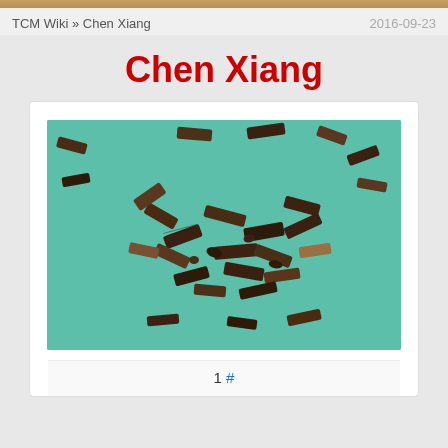TCM Wiki » Chen Xiang
2016-09-23
Chen Xiang
[Figure (photo): Photo of Chen Xiang (Agarwood) herb pieces — dark brown/black wood chips and fragments scattered on a teal/green background]
1 #